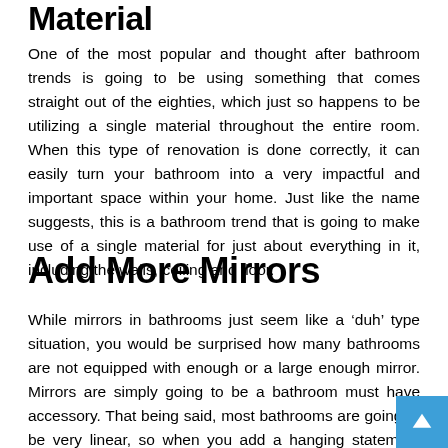Material
One of the most popular and thought after bathroom trends is going to be using something that comes straight out of the eighties, which just so happens to be utilizing a single material throughout the entire room. When this type of renovation is done correctly, it can easily turn your bathroom into a very impactful and important space within your home. Just like the name suggests, this is a bathroom trend that is going to make use of a single material for just about everything in it, including the walls, ceiling and floor.
Add More Mirrors
While mirrors in bathrooms just seem like a ‘duh’ type situation, you would be surprised how many bathrooms are not equipped with enough or a large enough mirror. Mirrors are simply going to be a bathroom must have accessory. That being said, most bathrooms are going to be very linear, so when you add a hanging statement mirror, it can make your bathroom look